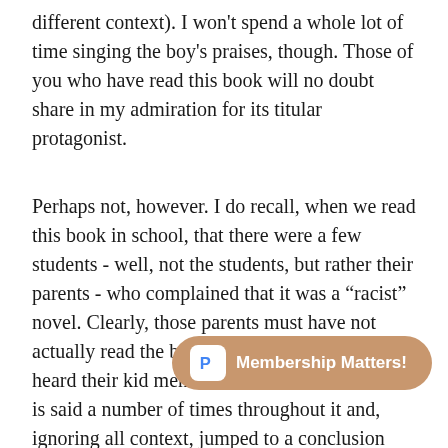different context). I won't spend a whole lot of time singing the boy's praises, though. Those of you who have read this book will no doubt share in my admiration for its titular protagonist.
Perhaps not, however. I do recall, when we read this book in school, that there were a few students - well, not the students, but rather their parents - who complained that it was a “racist” novel. Clearly, those parents must have not actually read the book. They must have just heard their kid mention that that infamous word is said a number of times throughout it and, ignoring all context, jumped to a conclusion without any merit. As a matter of fact, this book is a fantastic example of anti-racism. Twain abhorred slavery, and thou[gh he portrayed the] defenders of the horrid inst[itution as nothing stron]ch of backwards hicks. Throughout the novel, they are